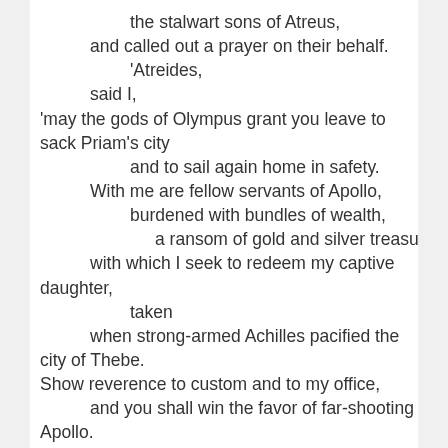the stalwart sons of Atreus,
and called out a prayer on their behalf.
'Atreides,
said I,
'may the gods of Olympus grant you leave to sack Priam's city
and to sail again home in safety.
With me are fellow servants of Apollo,
burdened with bundles of wealth,
a ransom of gold and silver treasures,
with which I seek to redeem my captive daughter,
taken
when strong-armed Achilles pacified the city of Thebe.
Show reverence to custom and to my office,
and you shall win the favor of far-shooting
Apollo.